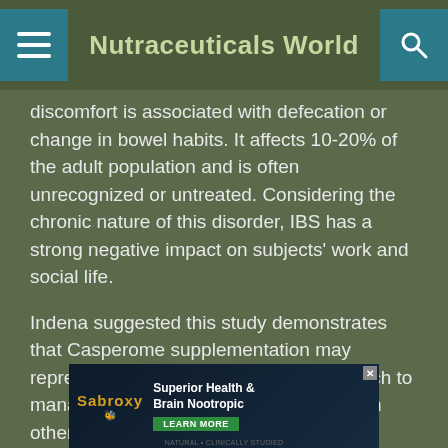Nutraceuticals World
discomfort is associated with defecation or change in bowel habits. It affects 10-20% of the adult population and is often unrecognized or untreated. Considering the chronic nature of this disorder, IBS has a strong negative impact on subjects' work and social life.
Indena suggested this study demonstrates that Casperome supplementation may represent a promising alternative approach to manage symptoms associated with IBS in otherwise healthy subjects.
CASPEROME is a purified extract rich in triterpenoid acids from the gum resin of Boswellia serrata. Given the poor bioavailability of these compounds (Buechele B. et al. Journal of Chromatography B, 2003.), Indena has
[Figure (screenshot): Advertisement banner for Sabroxy Superior Health & Brain Nootropic with learn more button]